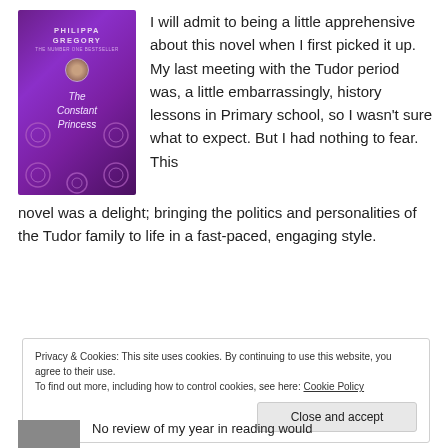[Figure (illustration): Book cover of 'The Constant Princess' by Philippa Gregory. Purple background with ornamental patterns and a central portrait of a woman.]
I will admit to being a little apprehensive about this novel when I first picked it up. My last meeting with the Tudor period was, a little embarrassingly, history lessons in Primary school, so I wasn't sure what to expect. But I had nothing to fear. This novel was a delight; bringing the politics and personalities of the Tudor family to life in a fast-paced, engaging style.
Privacy & Cookies: This site uses cookies. By continuing to use this website, you agree to their use.
To find out more, including how to control cookies, see here: Cookie Policy
Close and accept
No review of my year in reading would